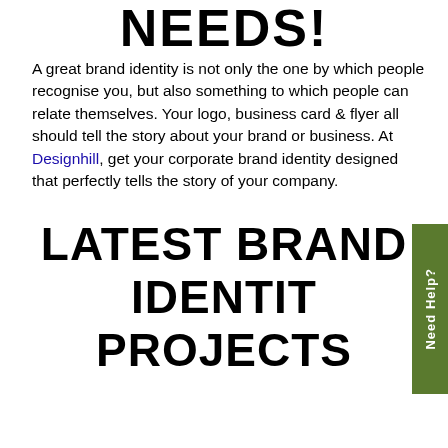NEEDS!
A great brand identity is not only the one by which people recognise you, but also something to which people can relate themselves. Your logo, business card & flyer all should tell the story about your brand or business. At Designhill, get your corporate brand identity designed that perfectly tells the story of your company.
LATEST BRAND IDENTITY PROJECTS